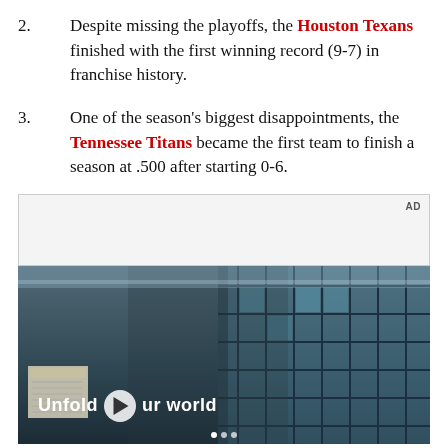2. Despite missing the playoffs, the Houston Texans finished with the first winning record (9-7) in franchise history.
3. One of the season's biggest disappointments, the Tennessee Titans became the first team to finish a season at .500 after starting 0-6.
[Figure (other): Advertisement video player showing a young man in a denim jacket standing in front of a blue tiled wall, with the text 'Unfold your world' and a play button overlay.]